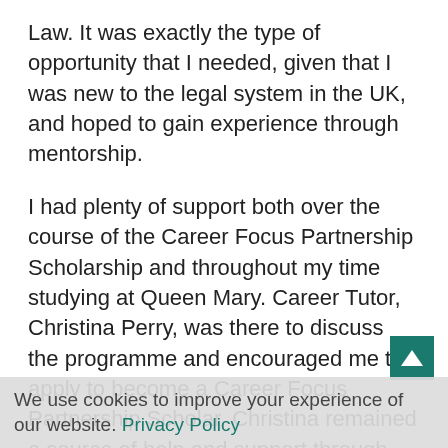Law. It was exactly the type of opportunity that I needed, given that I was new to the legal system in the UK, and hoped to gain experience through mentorship.
I had plenty of support both over the course of the Career Focus Partnership Scholarship and throughout my time studying at Queen Mary. Career Tutor, Christina Perry, was there to discuss the programme and encouraged me to apply to become a Career Focus Partnership Scholar. Christina remained a source of help and support through my time in the programme. Another aspect of the programme I found particularly useful was the mentorship scheme. My mentor was very friendly and supportive, helping me build my confidence and continue working on my weaknesses. She also helped me navigate the
We use cookies to improve your experience of our website. Privacy Policy